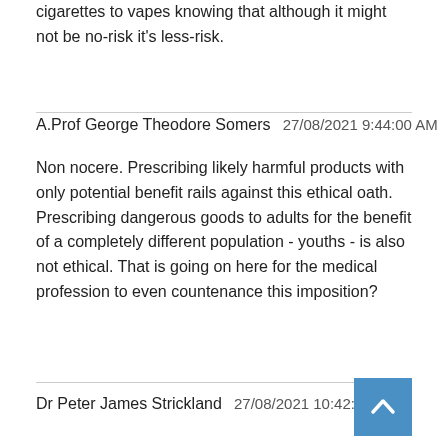cigarettes to vapes knowing that although it might not be no-risk it's less-risk.
A.Prof George Theodore Somers   27/08/2021 9:44:00 AM
Non nocere. Prescribing likely harmful products with only potential benefit rails against this ethical oath. Prescribing dangerous goods to adults for the benefit of a completely different population - youths - is also not ethical. That is going on here for the medical profession to even countenance this imposition?
Dr Peter James Strickland   27/08/2021 10:42:12 AM